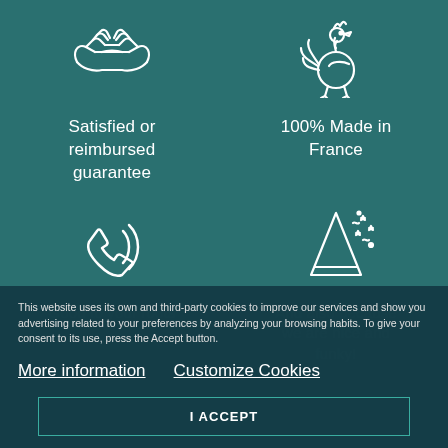[Figure (illustration): White outline icon of two hands shaking (handshake) on teal background]
Satisfied or reimbursed guarantee
[Figure (illustration): White outline icon of a rooster (French Gallic rooster) on teal background]
100% Made in France
[Figure (illustration): White outline icon of a telephone/phone receiver on teal background]
Good to your roots
[Figure (illustration): White outline icon of a party hat with confetti on teal background]
And also because we are nice and funky!
This website uses its own and third-party cookies to improve our services and show you advertising related to your preferences by analyzing your browsing habits. To give your consent to its use, press the Accept button.
More information
Customize Cookies
I ACCEPT